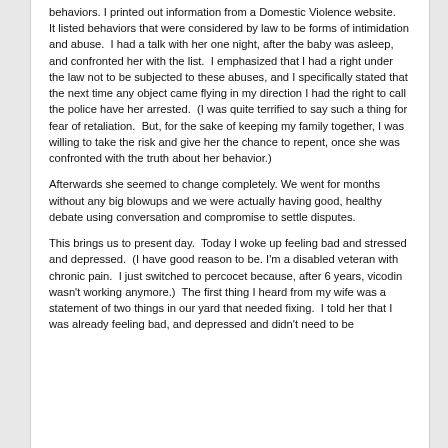behaviors. I printed out information from a Domestic Violence website.   It listed behaviors that were considered by law to be forms of intimidation and abuse.  I had a talk with her one night, after the baby was asleep, and confronted her with the list.  I emphasized that I had a right under the law not to be subjected to these abuses, and I specifically stated that the next time any object came flying in my direction I had the right to call the police have her arrested.  (I was quite terrified to say such a thing for fear of retaliation.  But, for the sake of keeping my family together, I was willing to take the risk and give her the chance to repent, once she was confronted with the truth about her behavior.)
Afterwards she seemed to change completely. We went for months without any big blowups and we were actually having good, healthy debate using conversation and compromise to settle disputes.
This brings us to present day.  Today I woke up feeling bad and stressed and depressed.  (I have good reason to be. I'm a disabled veteran with chronic pain.  I just switched to percocet because, after 6 years, vicodin wasn't working anymore.)  The first thing I heard from my wife was a statement of two things in our yard that needed fixing.  I told her that I was already feeling bad, and depressed and didn't need to be